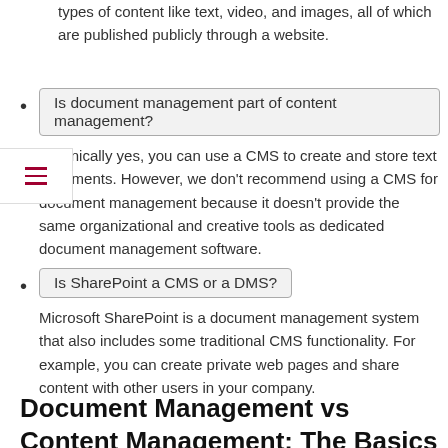types of content like text, video, and images, all of which are published publicly through a website.
Is document management part of content management?
Technically yes, you can use a CMS to create and store text documents. However, we don't recommend using a CMS for document management because it doesn't provide the same organizational and creative tools as dedicated document management software.
Is SharePoint a CMS or a DMS?
Microsoft SharePoint is a document management system that also includes some traditional CMS functionality. For example, you can create private web pages and share content with other users in your company.
Document Management vs Content Management: The Basics